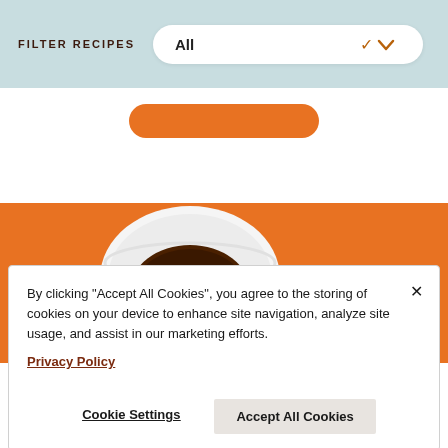FILTER RECIPES — All
[Figure (photo): Orange background with a white ceramic pouring bowl containing dark brown sauce, and red candied/glazed bacon pieces beside it]
By clicking "Accept All Cookies", you agree to the storing of cookies on your device to enhance site navigation, analyze site usage, and assist in our marketing efforts.
Privacy Policy
Cookie Settings
Accept All Cookies